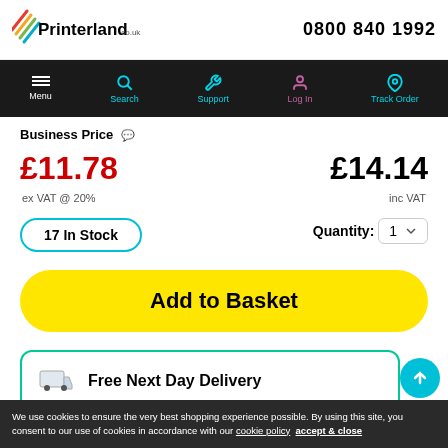[Figure (logo): Printerland.co.uk logo with colourful swooshes]
0800 840 1992
[Figure (screenshot): Navigation bar with Menu, Search, Support, Log In, Track Order icons on black background]
Business Price
£11.78
£14.14
ex VAT @ 20%
inc VAT
17 In Stock
Quantity: 1
Add to Basket
Free Next Day Delivery
We use cookies to ensure the very best shopping experience possible. By using this site, you consent to our use of cookies in accordance with our cookie policy   accept & close